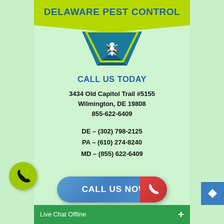[Figure (logo): Delaware Pest Control logo with yellow-green banner, blue text, teal chevron with white termite/ant icon]
CALL US TODAY
3434 Old Capitol Trail #5155
Wilmington, DE 19808
855-622-6409
DE – (302) 798-2125
PA – (610) 274-8240
MD – (855) 622-6409
[Figure (infographic): Blue pill-shaped button with 'CALL US NOW' text and red phone icon on right side]
Live Chat Offline